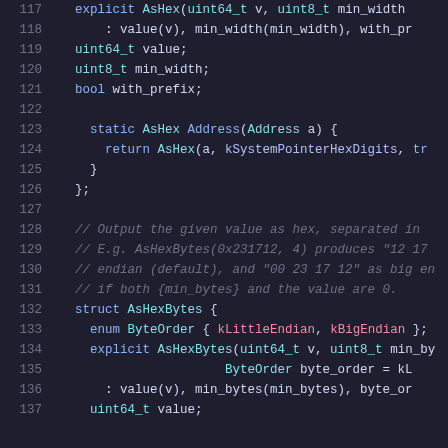Code listing lines 117-137, C++ source code showing AsHex and AsHexBytes structs